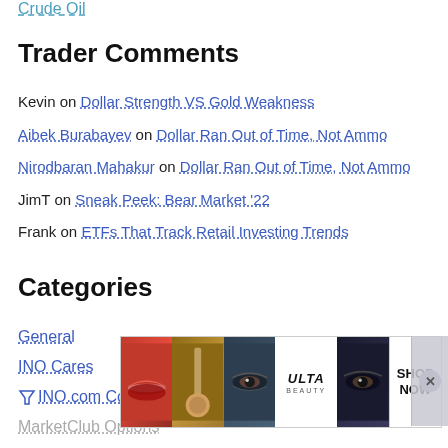Crude Oil
Trader Comments
Kevin on Dollar Strength VS Gold Weakness
Aibek Burabayev on Dollar Ran Out of Time, Not Ammo
Nirodbaran Mahakur on Dollar Ran Out of Time, Not Ammo
JimT on Sneak Peek: Bear Market '22
Frank on ETFs That Track Retail Investing Trends
Categories
General
INO Cares
INO.com Contributors
MarketClub Options
[Figure (photo): Ulta Beauty advertisement banner with makeup imagery and SHOP NOW call to action]